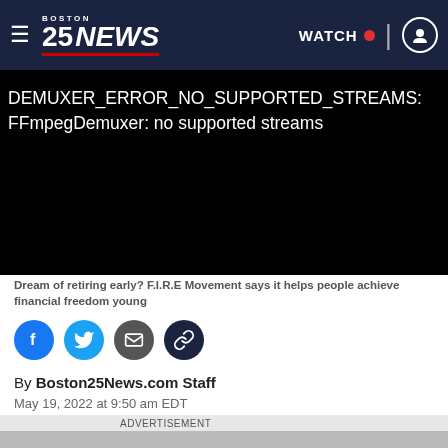Boston 25 NEWS | WATCH
[Figure (screenshot): Black video player showing error message: DEMUXER_ERROR_NO_SUPPORTED_STREAMS: FFmpegDemuxer: no supported streams]
Dream of retiring early? F.I.R.E Movement says it helps people achieve financial freedom young
[Figure (infographic): Social share icons: Facebook, Twitter, Email, Link]
By Boston25News.com Staff
May 19, 2022 at 9:50 am EDT
ADVERTISEMENT